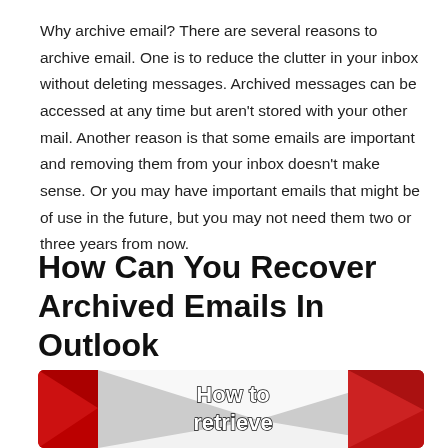Why archive email? There are several reasons to archive email. One is to reduce the clutter in your inbox without deleting messages. Archived messages can be accessed at any time but aren't stored with your other mail. Another reason is that some emails are important and removing them from your inbox doesn't make sense. Or you may have important emails that might be of use in the future, but you may not need them two or three years from now.
How Can You Recover Archived Emails In Outlook
[Figure (illustration): Partially visible thumbnail image showing a red Gmail-style envelope icon on a red/grey background with bold white text reading 'How to retrieve' — part of a tutorial video thumbnail or article image.]